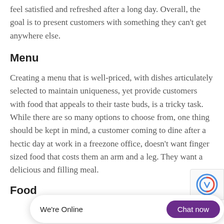feel satisfied and refreshed after a long day. Overall, the goal is to present customers with something they can't get anywhere else.
Menu
Creating a menu that is well-priced, with dishes articulately selected to maintain uniqueness, yet provide customers with food that appeals to their taste buds, is a tricky task. While there are so many options to choose from, one thing should be kept in mind, a customer coming to dine after a hectic day at work in a freezone office, doesn't want finger sized food that costs them an arm and a leg. They want a delicious and filling meal.
Food